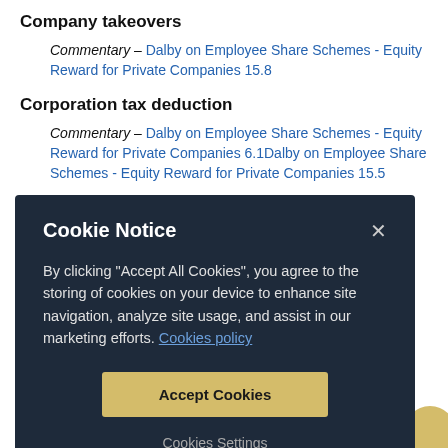Company takeovers
Commentary – Dalby on Employee Share Schemes - Equity Reward for Private Companies 15.8
Corporation tax deduction
Commentary – Dalby on Employee Share Schemes - Equity Reward for Private Companies 6.1Dalby on Employee Share Schemes - Equity Reward for Private Companies 15.5
[Figure (screenshot): Cookie Notice modal dialog with dark navy background. Title 'Cookie Notice' in white bold text with X close button. Body text: 'By clicking "Accept All Cookies", you agree to the storing of cookies on your device to enhance site navigation, analyze site usage, and assist in our marketing efforts. Cookies policy'. Gold/yellow 'Accept Cookies' button centered. 'Cookies Settings' underlined link below.]